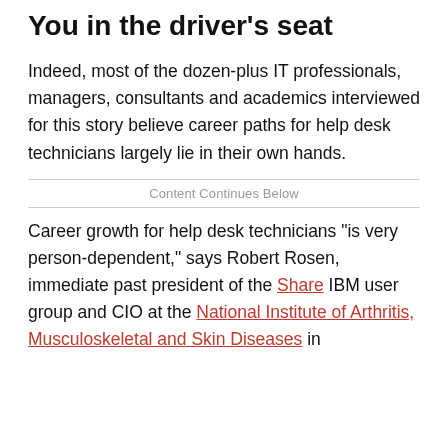You in the driver's seat
Indeed, most of the dozen-plus IT professionals, managers, consultants and academics interviewed for this story believe career paths for help desk technicians largely lie in their own hands.
Content Continues Below
Career growth for help desk technicians "is very person-dependent," says Robert Rosen, immediate past president of the Share IBM user group and CIO at the National Institute of Arthritis, Musculoskeletal and Skin Diseases in